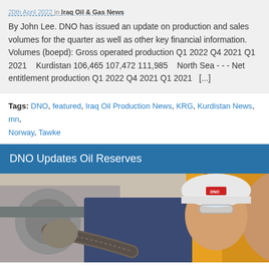20th April 2022 in Iraq Oil & Gas News
By John Lee. DNO has issued an update on production and sales volumes for the quarter as well as other key financial information. Volumes (boepd): Gross operated production Q1 2022 Q4 2021 Q1 2021   Kurdistan 106,465 107,472 111,985   North Sea - - - Net entitlement production Q1 2022 Q4 2021 Q1 2021  [...]
Tags: DNO, featured, Iraq Oil Production News, KRG, Kurdistan News, mn, Norway, Tawke
DNO Updates Oil Reserves
[Figure (photo): Worker in white hard hat with DNO logo and safety glasses working with industrial equipment]